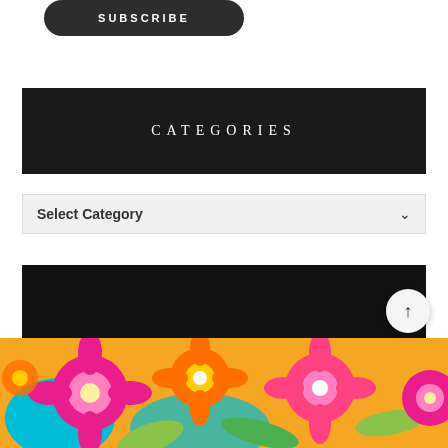[Figure (screenshot): Dark rounded-rectangle SUBSCRIBE button with white uppercase lettered text]
CATEGORIES
Select Category
[Figure (other): Black horizontal bar, blank/dark content area]
[Figure (illustration): Colorful tropical floral pattern with orange, pink, cyan, and green flowers and leaves]